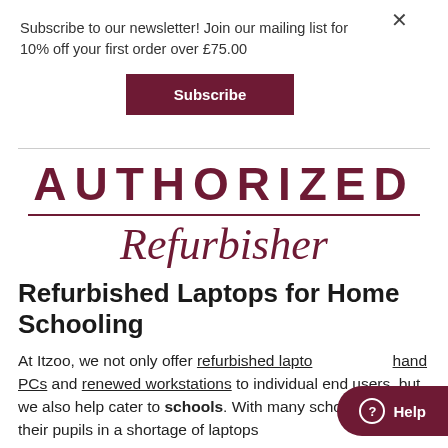Subscribe to our newsletter! Join our mailing list for 10% off your first order over £75.00
Subscribe
AUTHORIZED
Refurbisher
Refurbished Laptops for Home Schooling
At Itzoo, we not only offer refurbished laptops, second-hand PCs and renewed workstations to individual end users, but we also help cater to schools. With many schools finding their pupils in a shortage of laptops